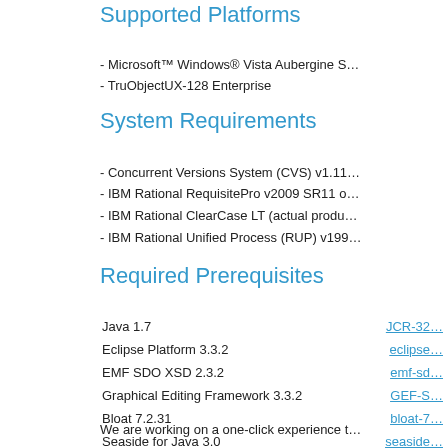Supported Platforms
- Microsoft™ Windows® Vista Aubergine S...
- TruObjectUX-128 Enterprise
System Requirements
- Concurrent Versions System (CVS) v1.11...
- IBM Rational RequisitePro v2009 SR11 o...
- IBM Rational ClearCase LT (actual produ...
- IBM Rational Unified Process (RUP) v199...
Required Prerequisites
|  |  |
| --- | --- |
| Java 1.7 | JCR-32... |
| Eclipse Platform 3.3.2 | eclipse... |
| EMF SDO XSD 2.3.2 | emf-sd... |
| Graphical Editing Framework 3.3.2 | GEF-S... |
| Bloat 7.2.31 | bloat-7... |
| Seaside for Java 3.0 | seaside... |
We are working on a one-click experience t...